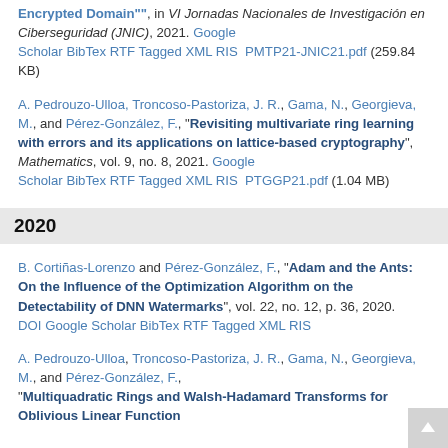Encrypted Domain"", in VI Jornadas Nacionales de Investigación en Ciberseguridad (JNIC), 2021. Google Scholar BibTex RTF Tagged XML RIS PMTP21-JNIC21.pdf (259.84 KB)
A. Pedrouzo-Ulloa, Troncoso-Pastoriza, J. R., Gama, N., Georgieva, M., and Pérez-González, F., "Revisiting multivariate ring learning with errors and its applications on lattice-based cryptography", Mathematics, vol. 9, no. 8, 2021. Google Scholar BibTex RTF Tagged XML RIS PTGGP21.pdf (1.04 MB)
2020
B. Cortiñas-Lorenzo and Pérez-González, F., "Adam and the Ants: On the Influence of the Optimization Algorithm on the Detectability of DNN Watermarks", vol. 22, no. 12, p. 36, 2020. DOI Google Scholar BibTex RTF Tagged XML RIS
A. Pedrouzo-Ulloa, Troncoso-Pastoriza, J. R., Gama, N., Georgieva, M., and Pérez-González, F., "Multiquadratic Rings and Walsh-Hadamard Transforms for Oblivious Linear Function